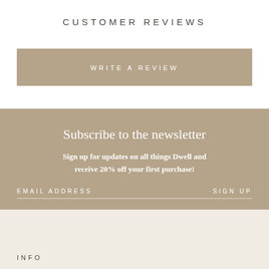CUSTOMER REVIEWS
WRITE A REVIEW
Subscribe to the newsletter
Sign up for updates on all things Dwell and receive 20% off your first purchase!
EMAIL ADDRESS
SIGN UP
INFO